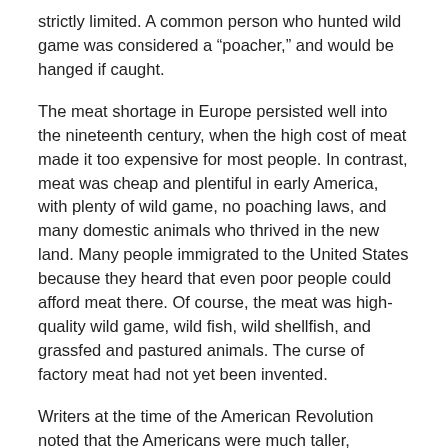strictly limited. A common person who hunted wild game was considered a “poacher,” and would be hanged if caught.
The meat shortage in Europe persisted well into the nineteenth century, when the high cost of meat made it too expensive for most people. In contrast, meat was cheap and plentiful in early America, with plenty of wild game, no poaching laws, and many domestic animals who thrived in the new land. Many people immigrated to the United States because they heard that even poor people could afford meat there. Of course, the meat was high-quality wild game, wild fish, wild shellfish, and grassfed and pastured animals. The curse of factory meat had not yet been invented.
Writers at the time of the American Revolution noted that the Americans were much taller, stronger, and healthier than the poor classes in Europe. Americans, eating a diet full of animal fats and meat, were noted for their intelligence, inventiveness, and ability to innovate and get things done. “Yankee ingenuity” became a common phrase because of these qualities.
History shows us that eating animal foods, in the form of grassfed and pastured meat and fat, is very beneficial to human beings. It is the food that is most natural to us. Dairy-based fats such as butter, unprocessed